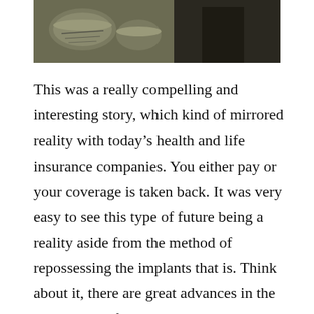[Figure (photo): Partial view of a dark photograph showing what appears to be containers or jars on the left side and a dark figure on the right side.]
This was a really compelling and interesting story, which kind of mirrored reality with today’s health and life insurance companies. You either pay or your coverage is taken back. It was very easy to see this type of future being a reality aside from the method of repossessing the implants that is. Think about it, there are great advances in the technology of organ and limb transplants going on right now. If you can afford it, there are many ways to keep you living a longer life, but your insurance payments have to be made, that’s for sure. In the case of this movie, The Union would give you an organ and set